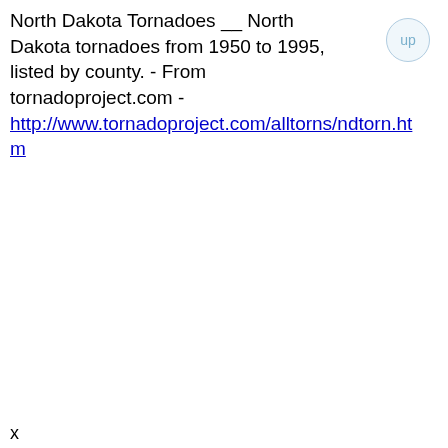North Dakota Tornadoes __ North Dakota tornadoes from 1950 to 1995, listed by county. - From tornadoproject.com - http://www.tornadoproject.com/alltorns/ndtorn.htm
x